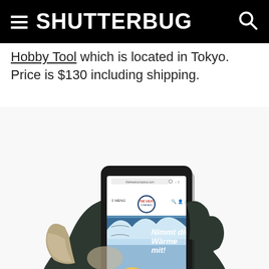SHUTTERBUG
Hobby Tool which is located in Tokyo. Price is $130 including shipping.
[Figure (photo): A gloved hand holding a smartphone displaying The Heat Company website with the text 'Nimmt die Wärme mit!' and an image of skiers on a snowy landscape.]